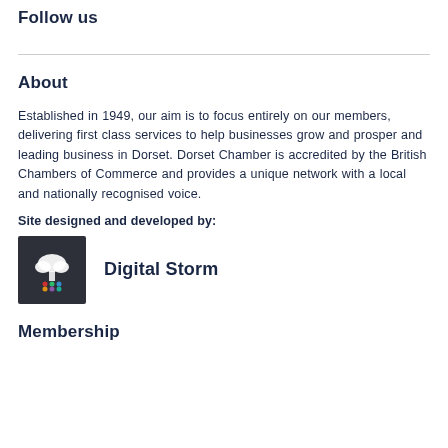Follow us
About
Established in 1949, our aim is to focus entirely on our members, delivering first class services to help businesses grow and prosper and leading business in Dorset. Dorset Chamber is accredited by the British Chambers of Commerce and provides a unique network with a local and nationally recognised voice.
Site designed and developed by:
[Figure (logo): Digital Storm logo — dark square with cloud/tree icon and text 'Digital Storm']
Membership